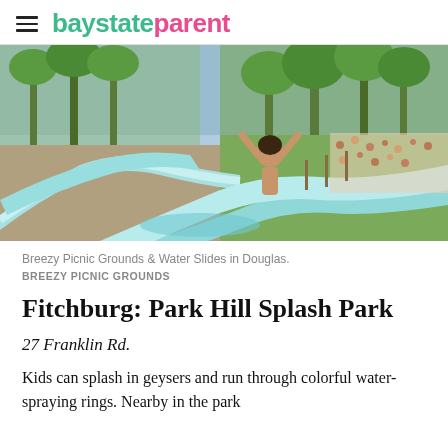baystateparent
[Figure (photo): A child riding down a water slide at Breezy Picnic Grounds & Water Slides in Douglas, with a lake and trees visible in the background and crowds of people on the right.]
Breezy Picnic Grounds & Water Slides in Douglas.
BREEZY PICNIC GROUNDS
Fitchburg: Park Hill Splash Park
27 Franklin Rd.
Kids can splash in geysers and run through colorful water-spraying rings. Nearby in the park